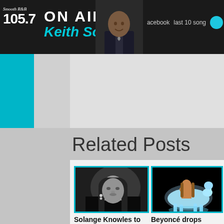Smooth R&B 105.7 ON AIR Keith Solis | acebook | last 10 songs
Related Posts
[Figure (photo): Black and white portrait photo of Solange Knowles]
[Figure (photo): Photo of Beyoncé on a glowing white horse against a black background]
Solange Knowles to compose score
Beyoncé drops official teaser for